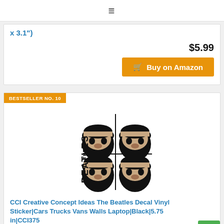≡
x 3.1")
$5.99
Buy on Amazon
BESTSELLER NO. 10
[Figure (illustration): The Beatles logo with four cartoon heads in black silhouette arranged in a 2x2 grid with crosshair lines]
CCI Creative Concept Ideas The Beatles Decal Vinyl Sticker|Cars Trucks Vans Walls Laptop|Black|5.75 in|CCI375
$7.94
Prime